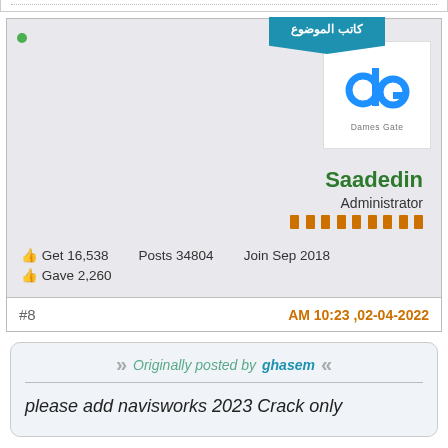كاتب الموضوع (banner)
[Figure (logo): Dames Gate logo — stylized 'dg' letters in blue with 'Dames Gate' text below]
Saadedin
Administrator
👍 Get 16,538   Posts 34804   Join Sep 2018
👍 Gave 2,260
#8
02-04-2022, 10:23 AM
Originally posted by ghasem
please add navisworks 2023 Crack only